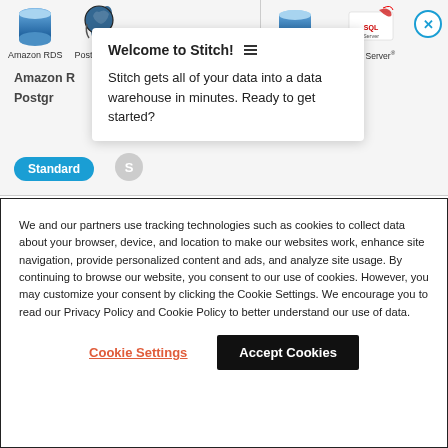[Figure (screenshot): Screenshot of a web UI showing Amazon RDS and PostgreSQL logos on the left, Amazon RDS and SQL Server logos on the right with a vertical divider, and a tooltip popup saying 'Welcome to Stitch!' with body text 'Stitch gets all of your data into a data warehouse in minutes. Ready to get started?', a close X button, a 'Standard' blue pill button, and partially visible 'Amazon R...' and 'Postgre...' truncated labels behind the popup.]
We and our partners use tracking technologies such as cookies to collect data about your browser, device, and location to make our websites work, enhance site navigation, provide personalized content and ads, and analyze site usage. By continuing to browse our website, you consent to our use of cookies. However, you may customize your consent by clicking the Cookie Settings. We encourage you to read our Privacy Policy and Cookie Policy to better understand our use of data.
Cookie Settings
Accept Cookies